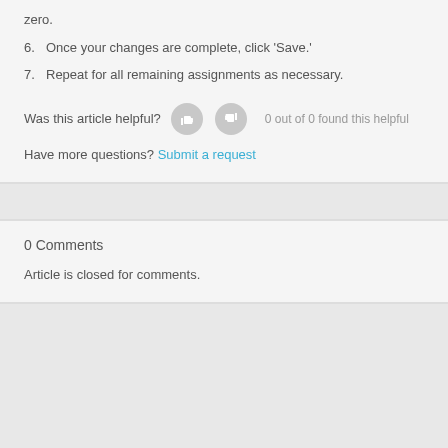zero.
6. Once your changes are complete, click 'Save.'
7. Repeat for all remaining assignments as necessary.
Was this article helpful?  0 out of 0 found this helpful
Have more questions? Submit a request
0 Comments
Article is closed for comments.